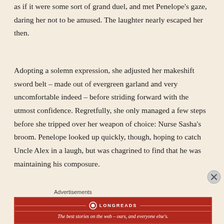as if it were some sort of grand duel, and met Penelope's gaze, daring her not to be amused. The laughter nearly escaped her then.
Adopting a solemn expression, she adjusted her makeshift sword belt – made out of evergreen garland and very uncomfortable indeed – before striding forward with the utmost confidence. Regretfully, she only managed a few steps before she tripped over her weapon of choice: Nurse Sasha's broom. Penelope looked up quickly, though, hoping to catch Uncle Alex in a laugh, but was chagrined to find that he was maintaining his composure.
Advertisements
[Figure (other): Longreads advertisement banner with logo and tagline: The best stories on the web – ours, and everyone else's.]